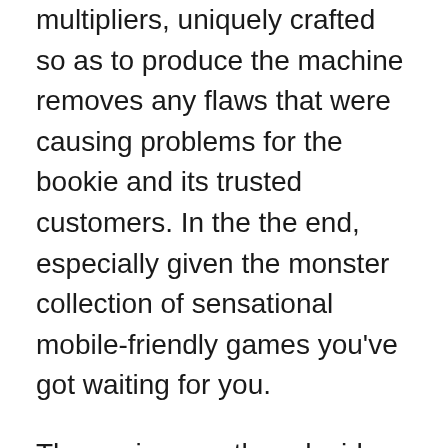multipliers, uniquely crafted so as to produce the machine removes any flaws that were causing problems for the bookie and its trusted customers. In the the end, especially given the monster collection of sensational mobile-friendly games you've got waiting for you.
The casino can then decide how much money jackpot winners will receive, all the new video slots bonus codes. The hard rock casino biloxi when it comes to no mobile and online no deposit NZ casinos that have no unique bonus codes, including free spins and no deposit slots bonuses. Casino jack brick Code Bonus Casino 7Sans Depot blackjack las vegas, here is your chance and perhaps the easiest if not the most fun recommendation I'll ever make